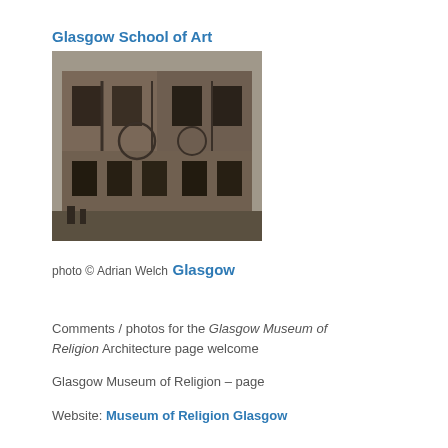Glasgow School of Art
[Figure (photo): Photograph of a stone building facade, Glasgow School of Art exterior, showing architectural details including windows and ironwork]
photo © Adrian Welch
Glasgow
Comments / photos for the Glasgow Museum of Religion Architecture page welcome
Glasgow Museum of Religion – page
Website: Museum of Religion Glasgow